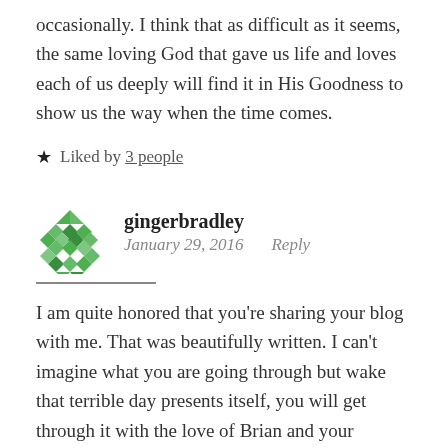occasionally. I think that as difficult as it seems, the same loving God that gave us life and loves each of us deeply will find it in His Goodness to show us the way when the time comes.
★ Liked by 3 people
gingerbradley
January 29, 2016    Reply
I am quite honored that you're sharing your blog with me. That was beautifully written. I can't imagine what you are going through but wake that terrible day presents itself, you will get through it with the love of Brian and your